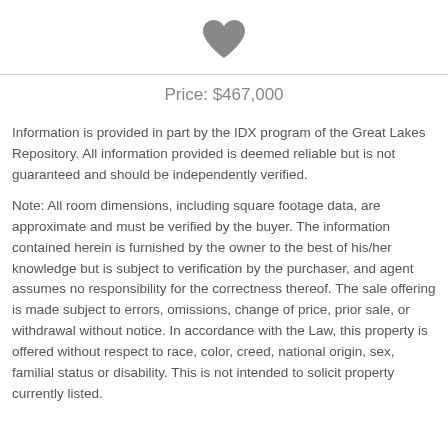[Figure (illustration): Heart/favorite icon (dark gray filled heart shape) centered at top of page]
Price: $467,000
Information is provided in part by the IDX program of the Great Lakes Repository. All information provided is deemed reliable but is not guaranteed and should be independently verified.
Note: All room dimensions, including square footage data, are approximate and must be verified by the buyer. The information contained herein is furnished by the owner to the best of his/her knowledge but is subject to verification by the purchaser, and agent assumes no responsibility for the correctness thereof. The sale offering is made subject to errors, omissions, change of price, prior sale, or withdrawal without notice. In accordance with the Law, this property is offered without respect to race, color, creed, national origin, sex, familial status or disability. This is not intended to solicit property currently listed.